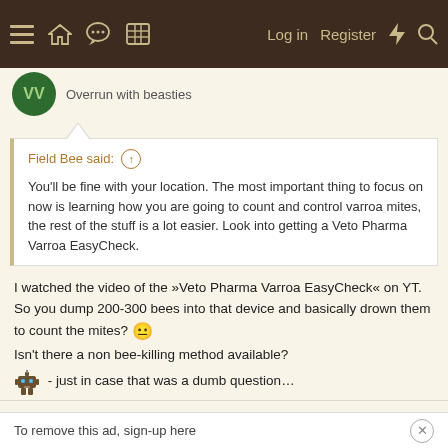Navigation bar with menu, home, chat, grid icons, Log in, Register, lightning, search
Overrun with beasties
Field Bee said: ↑
You'll be fine with your location. The most important thing to focus on now is learning how you are going to count and control varroa mites, the rest of the stuff is a lot easier. Look into getting a Veto Pharma Varroa EasyCheck.
I watched the video of the »Veto Pharma Varroa EasyCheck« on YT.
So you dump 200-300 bees into that device and basically drown them to count the mites? 😐
Isn't there a non bee-killing method available?
🤖 - just in case that was a dumb question…
Field Bee and R2elk
To remove this ad, sign-up here